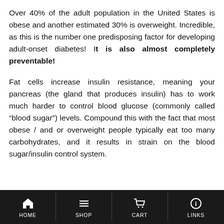Over 40% of the adult population in the United States is obese and another estimated 30% is overweight. Incredible, as this is the number one predisposing factor for developing adult-onset diabetes! It is also almost completely preventable!
Fat cells increase insulin resistance, meaning your pancreas (the gland that produces insulin) has to work much harder to control blood glucose (commonly called “blood sugar”) levels. Compound this with the fact that most obese / and or overweight people typically eat too many carbohydrates, and it results in strain on the blood sugar/insulin control system.
HOME  SHOP  CART  LINKS